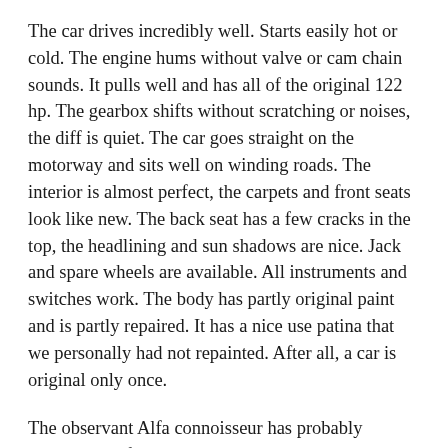The car drives incredibly well. Starts easily hot or cold. The engine hums without valve or cam chain sounds. It pulls well and has all of the original 122 hp. The gearbox shifts without scratching or noises, the diff is quiet. The car goes straight on the motorway and sits well on winding roads. The interior is almost perfect, the carpets and front seats look like new. The back seat has a few cracks in the top, the headlining and sun shadows are nice. Jack and spare wheels are available. All instruments and switches work. The body has partly original paint and is partly repaired. It has a nice use patina that we personally had not repainted. After all, a car is original only once.
The observant Alfa connoisseur has probably discovered a few peculiarities. The car was delivered to Finland in 1968 without side mirrors. A common procedure at a time when only a mirror was required in Italy. The car got at the dealer 2 Vitaloni Sebring mirrors. These are also original equipment on the Lamborghini Miura and are as